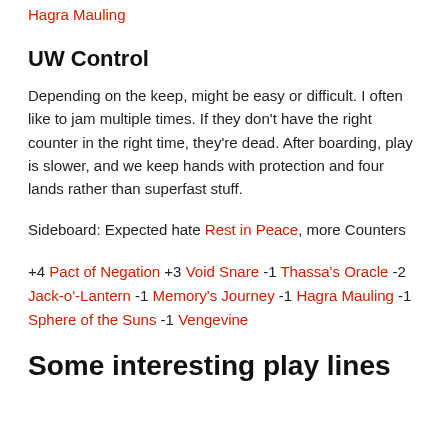Hagra Mauling
UW Control
Depending on the keep, might be easy or difficult. I often like to jam multiple times. If they don't have the right counter in the right time, they're dead. After boarding, play is slower, and we keep hands with protection and four lands rather than superfast stuff.
Sideboard: Expected hate Rest in Peace, more Counters
+4 Pact of Negation +3 Void Snare -1 Thassa's Oracle -2 Jack-o'-Lantern -1 Memory's Journey -1 Hagra Mauling -1 Sphere of the Suns -1 Vengevine
Some interesting play lines